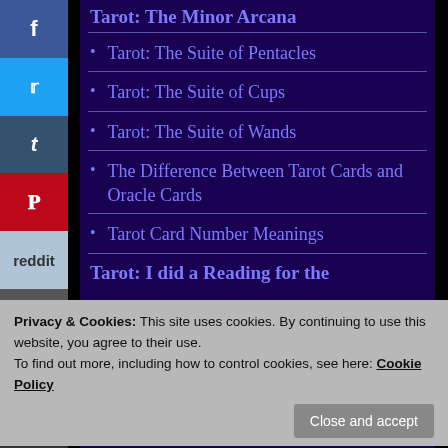Tarot: The Minor Arcana
Tarot: The Suite of Pentacles
Tarot: The Suite of Cups
Tarot: The Suite of Wands
The Difference Between Tarot Cards and Oracle Cards
Tarot Card Number Meanings
Tarot: I did a Reading for the
Privacy & Cookies: This site uses cookies. By continuing to use this website, you agree to their use.
To find out more, including how to control cookies, see here: Cookie Policy
Close and accept
on YouTube